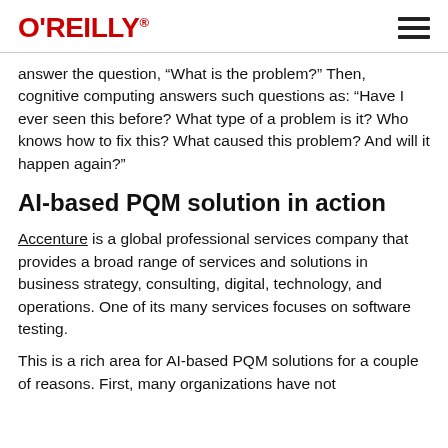O'REILLY
answer the question, "What is the problem?" Then, cognitive computing answers such questions as: "Have I ever seen this before? What type of a problem is it? Who knows how to fix this? What caused this problem? And will it happen again?"
AI-based PQM solution in action
Accenture is a global professional services company that provides a broad range of services and solutions in business strategy, consulting, digital, technology, and operations. One of its many services focuses on software testing.
This is a rich area for AI-based PQM solutions for a couple of reasons. First, many organizations have not